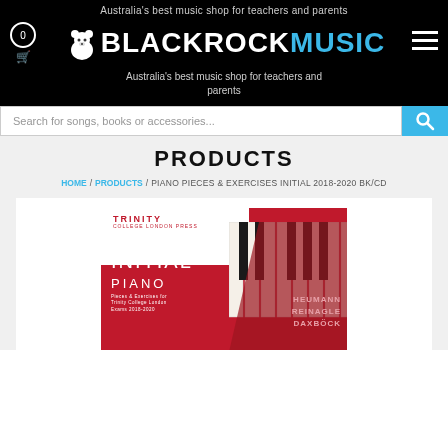Australia's best music shop for teachers and parents
[Figure (logo): Blackrock Music logo with polar bear icon, white text BLACKROCK and cyan text MUSIC]
Australia's best music shop for teachers and parents
Search for songs, books or accessories...
PRODUCTS
HOME / PRODUCTS / PIANO PIECES & EXERCISES INITIAL 2018-2020 BK/CD
[Figure (photo): Trinity College London Press Initial Piano book cover with red background, piano keys design, and authors HEUMANN, REINAGLE, DAXBOCK]